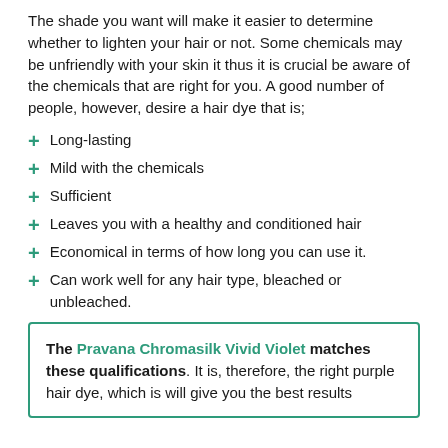The shade you want will make it easier to determine whether to lighten your hair or not. Some chemicals may be unfriendly with your skin it thus it is crucial be aware of the chemicals that are right for you. A good number of people, however, desire a hair dye that is;
Long-lasting
Mild with the chemicals
Sufficient
Leaves you with a healthy and conditioned hair
Economical in terms of how long you can use it.
Can work well for any hair type, bleached or unbleached.
The Pravana Chromasilk Vivid Violet matches these qualifications. It is, therefore, the right purple hair dye, which is will give you the best results